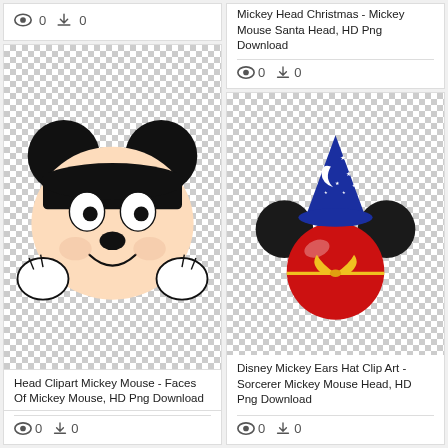[Figure (illustration): Partial card top showing stats row: eye icon 0, download icon 0]
Mickey Head Christmas - Mickey Mouse Santa Head, HD Png Download
0  0 (views and downloads)
[Figure (illustration): Mickey Mouse face clipart - Head Clipart Mickey Mouse, Faces Of Mickey Mouse, HD Png Download]
Head Clipart Mickey Mouse - Faces Of Mickey Mouse, HD Png Download
0  0 (views and downloads)
[Figure (illustration): Disney Mickey Ears Hat Clip Art - Sorcerer Mickey Mouse Head (red ball with sorcerer hat with stars and moon), HD Png Download]
Disney Mickey Ears Hat Clip Art - Sorcerer Mickey Mouse Head, HD Png Download
0  0 (views and downloads)